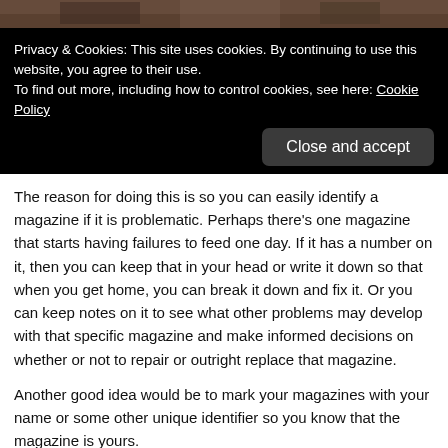[Figure (photo): Partial photo of hands holding magazines or similar objects, cropped at top]
Privacy & Cookies: This site uses cookies. By continuing to use this website, you agree to their use.
To find out more, including how to control cookies, see here: Cookie Policy
Close and accept
The reason for doing this is so you can easily identify a magazine if it is problematic. Perhaps there's one magazine that starts having failures to feed one day. If it has a number on it, then you can keep that in your head or write it down so that when you get home, you can break it down and fix it. Or you can keep notes on it to see what other problems may develop with that specific magazine and make informed decisions on whether or not to repair or outright replace that magazine.
Another good idea would be to mark your magazines with your name or some other unique identifier so you know that the magazine is yours.
This can be helpful if you’re sharing a range with other shooters, such as during a pistol course / class, and reloads are taking place simultaneously amongst many shooters and magazines are hitting the deck. When the exercise is over and everyone is collecting their